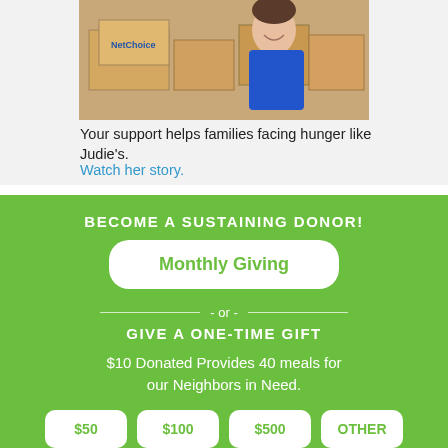[Figure (photo): A smiling woman in a blue top standing near cardboard boxes in what appears to be a food bank or warehouse setting.]
Your support helps families facing hunger like Judie's.
Watch her story.
BECOME A SUSTAINING DONOR!
Monthly Giving
- or -
GIVE A ONE-TIME GIFT
$10 Donated Provides 40 meals for our Neighbors in Need.
$50
$100
$500
OTHER